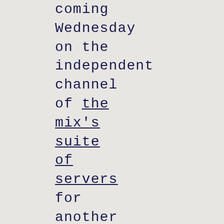coming Wednesday on the independent channel of the mix's suite of servers for another edition of the program.
..........................................
Have you really thought on password managers lately?